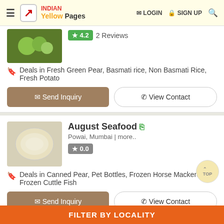INDIAN Yellow Pages | LOGIN | SIGN UP
★ 4.2  2 Reviews
Deals in Fresh Green Pear, Basmati rice, Non Basmati Rice, Fresh Potato
Send Inquiry | View Contact
August Seafood
Powai, Mumbai | more..
★ 0.0
Deals in Canned Pear, Pet Bottles, Frozen Horse Mackerel, Frozen Cuttle Fish
Send Inquiry | View Contact
Fruit Mandi
FILTER BY LOCALITY